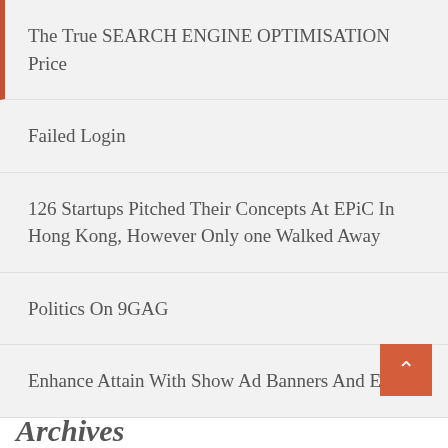The True SEARCH ENGINE OPTIMISATION Price
Failed Login
126 Startups Pitched Their Concepts At EPiC In Hong Kong, However Only one Walked Away
Politics On 9GAG
Enhance Attain With Show Ad Banners And Extra
Archives